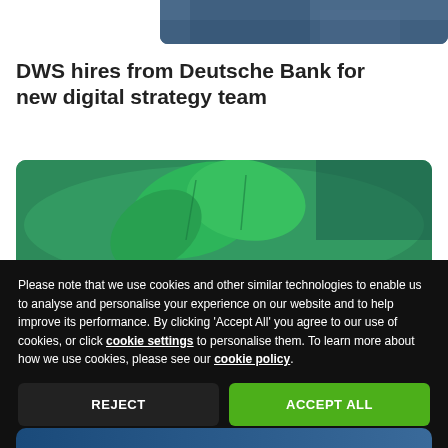[Figure (photo): Partial cropped photo at top, appears to show dark clothing or fabric texture in blue/grey tones]
DWS hires from Deutsche Bank for new digital strategy team
[Figure (photo): Photo of green tropical plant (monstera) leaves with blurred background in teal/green tones]
Please note that we use cookies and other similar technologies to enable us to analyse and personalise your experience on our website and to help improve its performance. By clicking 'Accept All' you agree to our use of cookies, or click cookie settings to personalise them. To learn more about how we use cookies, please see our cookie policy.
REJECT
ACCEPT ALL